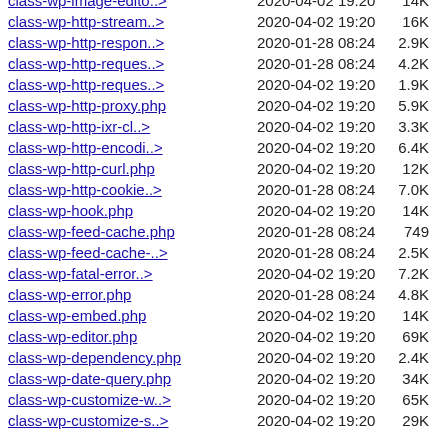class-wp-image-edito..> 2020-04-02 19:20 14K
class-wp-http-stream..> 2020-04-02 19:20 16K
class-wp-http-respon..> 2020-01-28 08:24 2.9K
class-wp-http-reques..> 2020-01-28 08:24 4.2K
class-wp-http-reques..> 2020-04-02 19:20 1.9K
class-wp-http-proxy.php 2020-04-02 19:20 5.9K
class-wp-http-ixr-cl..> 2020-04-02 19:20 3.3K
class-wp-http-encodi..> 2020-04-02 19:20 6.4K
class-wp-http-curl.php 2020-04-02 19:20 12K
class-wp-http-cookie..> 2020-01-28 08:24 7.0K
class-wp-hook.php 2020-04-02 19:20 14K
class-wp-feed-cache.php 2020-01-28 08:24 749
class-wp-feed-cache-..> 2020-01-28 08:24 2.5K
class-wp-fatal-error..> 2020-04-02 19:20 7.2K
class-wp-error.php 2020-01-28 08:24 4.8K
class-wp-embed.php 2020-04-02 19:20 14K
class-wp-editor.php 2020-04-02 19:20 69K
class-wp-dependency.php 2020-04-02 19:20 2.4K
class-wp-date-query.php 2020-04-02 19:20 34K
class-wp-customize-w..> 2020-04-02 19:20 65K
class-wp-customize-s..> 2020-04-02 19:20 29K